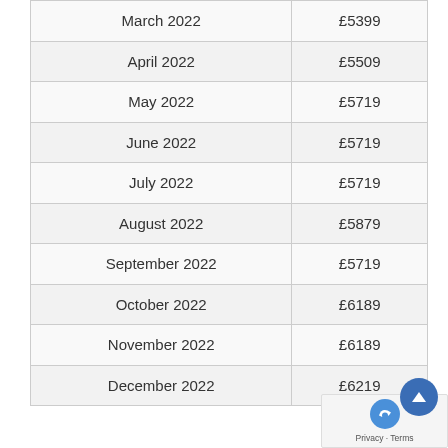| March 2022 | £5399 |
| April 2022 | £5509 |
| May 2022 | £5719 |
| June 2022 | £5719 |
| July 2022 | £5719 |
| August 2022 | £5879 |
| September 2022 | £5719 |
| October 2022 | £6189 |
| November 2022 | £6189 |
| December 2022 | £6219 |